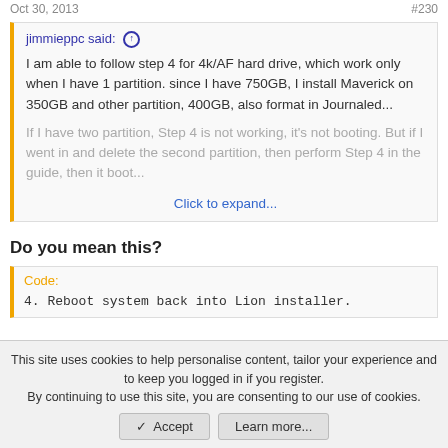Oct 30, 2013   #230
jimmieppc said: ↑

I am able to follow step 4 for 4k/AF hard drive, which work only when I have 1 partition. since I have 750GB, I install Maverick on 350GB and other partition, 400GB, also format in Journaled...

If I have two partition, Step 4 is not working, it's not booting. But if I went in and delete the second partition, then perform Step 4 in the guide, then it boot...

Click to expand...
Do you mean this?
Code:

4. Reboot system back into Lion installer.
This site uses cookies to help personalise content, tailor your experience and to keep you logged in if you register.
By continuing to use this site, you are consenting to our use of cookies.
✓ Accept   Learn more...